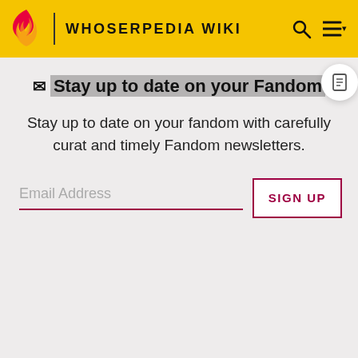WHOSERPEDIA WIKI
Stay up to date on your Fandom
Stay up to date on your fandom with carefully curated and timely Fandom newsletters.
Email Address
SIGN UP